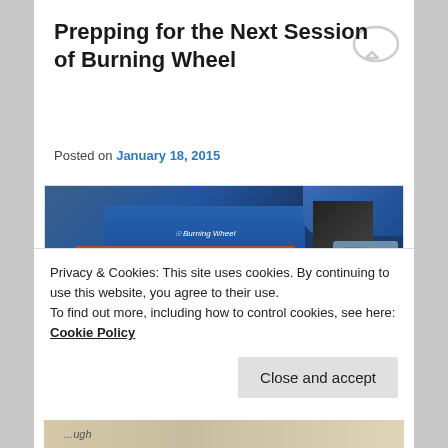Prepping for the Next Session of Burning Wheel
Posted on January 18, 2015
[Figure (photo): Photo of Burning Wheel RPG books and dice on a table, showing the blue and brown/red Burning Wheel book covers along with Chessex dice]
Privacy & Cookies: This site uses cookies. By continuing to use this website, you agree to their use.
To find out more, including how to control cookies, see here: Cookie Policy